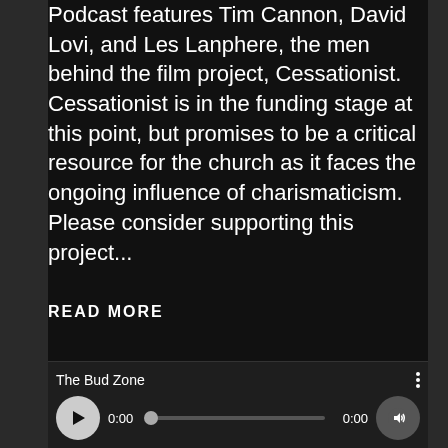Podcast features Tim Cannon, David Lovi, and Les Lanphere, the men behind the film project, Cessationist.  Cessationist is in the funding stage at this point, but promises to be a critical resource for the church as it faces the ongoing influence of charismaticism. Please consider supporting this project...
READ MORE
[Figure (screenshot): Audio player widget showing 'The Bud Zone' podcast. Play button on left, time 0:00, progress bar, end time 0:00, volume button on right. Three-dot menu in upper right.]